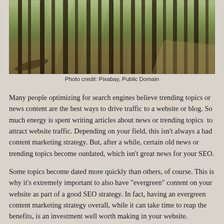[Figure (photo): A forest scene with tall pine tree trunks, sunlight filtering through, with a path on the right side. Fallen logs visible on the left.]
Photo credit: Pixabay, Public Domain
Many people optimizing for search engines believe trending topics or news content are the best ways to drive traffic to a website or blog. So much energy is spent writing articles about news or trending topics  to attract website traffic. Depending on your field, this isn't always a bad content marketing strategy. But, after a while, certain old news or trending topics become outdated, which isn't great news for your SEO.
Some topics become dated more quickly than others, of course. This is why it's extremely important to also have "evergreen" content on your website as part of a good SEO strategy. In fact, having an evergreen content marketing strategy overall, while it can take time to reap the benefits, is an investment well worth making in your website.